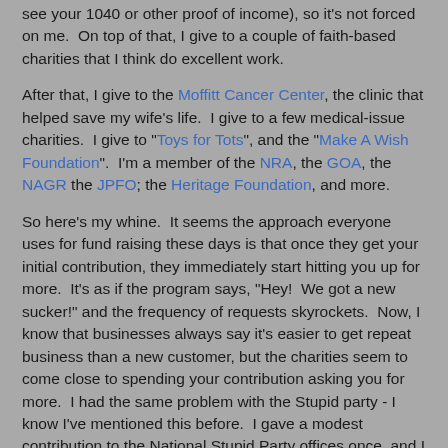see your 1040 or other proof of income), so it's not forced on me.  On top of that, I give to a couple of faith-based charities that I think do excellent work.
After that, I give to the Moffitt Cancer Center, the clinic that helped save my wife's life.  I give to a few medical-issue charities.  I give to "Toys for Tots", and the "Make A Wish Foundation".  I'm a member of the NRA, the GOA, the NAGR the JPFO; the Heritage Foundation, and more.
So here's my whine.  It seems the approach everyone uses for fund raising these days is that once they get your initial contribution, they immediately start hitting you up for more.  It's as if the program says, "Hey!  We got a new sucker!" and the frequency of requests skyrockets.  Now, I know that businesses always say it's easier to get repeat business than a new customer, but the charities seem to come close to spending your contribution asking you for more.  I had the same problem with the Stupid party - I know I've mentioned this before.  I gave a modest contribution to the National Stupid Party offices once, and I swear they've spent twice what I gave mailing me to get more money!